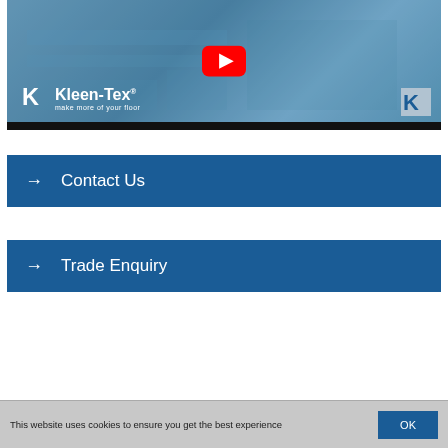[Figure (screenshot): Kleen-Tex YouTube video thumbnail showing factory/machinery with blue tint overlay, YouTube play button, Kleen-Tex logo with tagline 'make more of your floor', and progress bar at bottom]
→ Contact Us
→ Trade Enquiry
This website uses cookies to ensure you get the best experience